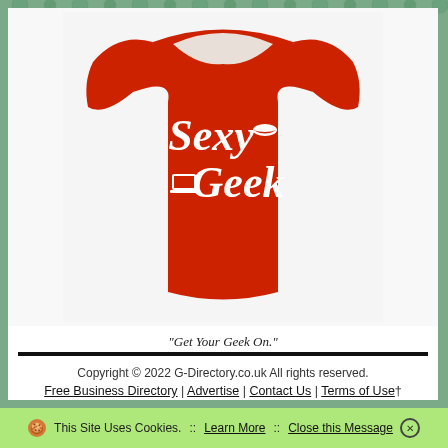[Figure (photo): Red fitted women's t-shirt with white text reading 'Sexy Geek' with a lips icon and laptop icon]
"Get Your Geek On."
Copyright © 2022 G-Directory.co.uk All rights reserved.
Free Business Directory | Advertise | Contact Us | Terms of Use†
🍪 This Site Uses Cookies. :: Learn More :: Close this Message ⊗